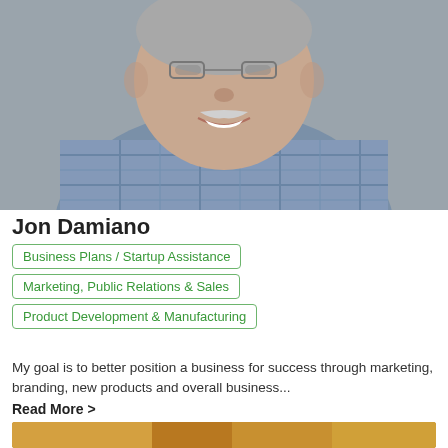[Figure (photo): Headshot of an older man with gray hair and mustache, wearing glasses and a blue plaid shirt, smiling, against a gray background]
Jon Damiano
Business Plans / Startup Assistance
Marketing, Public Relations & Sales
Product Development & Manufacturing
My goal is to better position a business for success through marketing, branding, new products and overall business... Read More >
[Figure (photo): Partial view of a second photo at the bottom of the page, showing warm amber/golden tones]